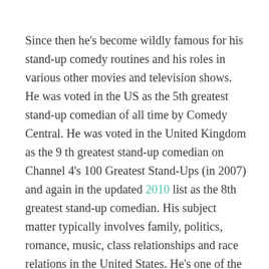Since then he's become wildly famous for his stand-up comedy routines and his roles in various other movies and television shows. He was voted in the US as the 5th greatest stand-up comedian of all time by Comedy Central. He was voted in the United Kingdom as the 9 th greatest stand-up comedian on Channel 4's 100 Greatest Stand-Ups (in 2007) and again in the updated 2010 list as the 8th greatest stand-up comedian. His subject matter typically involves family, politics, romance, music, class relationships and race relations in the United States. He's one of the funniest comedians to ever walk this earth (in my opinion).